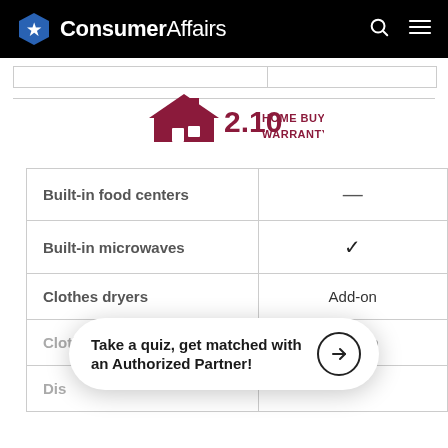ConsumerAffairs
[Figure (logo): 2-10 Home Buyers Warranty logo]
| Feature | 2-10 HBW |
| --- | --- |
| Built-in food centers | — |
| Built-in microwaves | ✓ |
| Clothes dryers | Add-on |
| Clothes washers | Add-on |
| Dishwashers |  |
Take a quiz, get matched with an Authorized Partner!